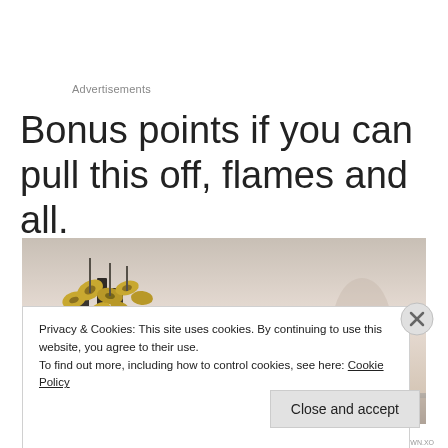Advertisements
Bonus points if you can pull this off, flames and all.
[Figure (photo): Outdoor speaker and horn cluster installation against a warm sky background]
Privacy & Cookies: This site uses cookies. By continuing to use this website, you agree to their use. To find out more, including how to control cookies, see here: Cookie Policy
Close and accept